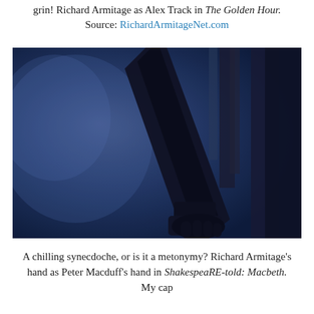grin! Richard Armitage as Alex Track in The Golden Hour. Source: RichardArmitageNet.com
[Figure (photo): Dark blue-toned atmospheric photograph showing a silhouetted hand and knife/blade against a moody blue background with curtains or fabric visible on the right.]
A chilling synecdoche, or is it a metonymy? Richard Armitage's hand as Peter Macduff's hand in ShakespeaRE-told: Macbeth. My cap